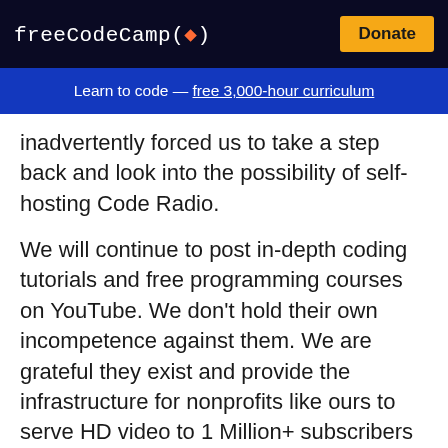freeCodeCamp(🔥)  Donate
Learn to code — free 3,000-hour curriculum
inadvertently forced us to take a step back and look into the possibility of self-hosting Code Radio.
We will continue to post in-depth coding tutorials and free programming courses on YouTube. We don't hold their own incompetence against them. We are grateful they exist and provide the infrastructure for nonprofits like ours to serve HD video to 1 Million+ subscribers for free.